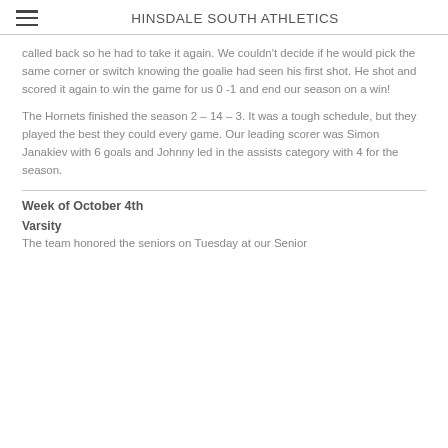HINSDALE SOUTH ATHLETICS
called back so he had to take it again. We couldn't decide if he would pick the same corner or switch knowing the goalie had seen his first shot. He shot and scored it again to win the game for us 0 -1 and end our season on a win!
The Hornets finished the season 2 – 14 – 3. It was a tough schedule, but they played the best they could every game. Our leading scorer was Simon Janakiev with 6 goals and Johnny led in the assists category with 4 for the season.
Week of October 4th
Varsity
The team honored the seniors on Tuesday at our Senior